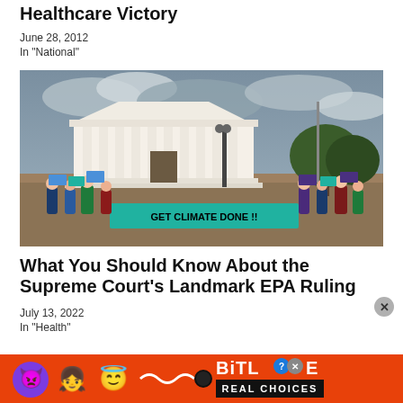Healthcare Victory
June 28, 2012
In "National"
[Figure (photo): Crowd of protesters outside the Supreme Court building holding signs including a large teal banner reading 'GET CLIMATE DONE']
What You Should Know About the Supreme Court's Landmark EPA Ruling
July 13, 2022
In "Health"
[Figure (infographic): BitLife advertisement banner with colorful emoji characters and text 'BITLIFE REAL CHOICES' on orange background]